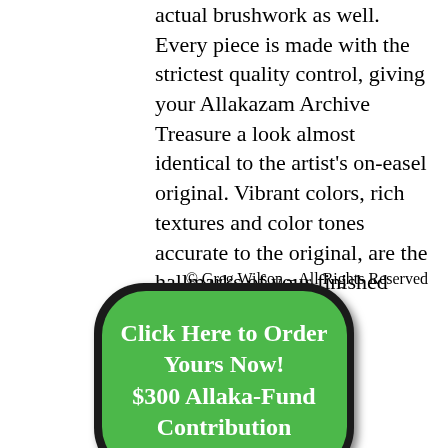actual brushwork as well. Every piece is made with the strictest quality control, giving your Allakazam Archive Treasure a look almost identical to the artist's on-easel original. Vibrant colors, rich textures and color tones accurate to the original, are the hallmarks of your finished piece.
© Greg Wilson – All Rights Reserved
[Figure (other): Green rounded button with black border reading 'Click Here to Order Yours Now! $300 Allaka-Fund Contribution']